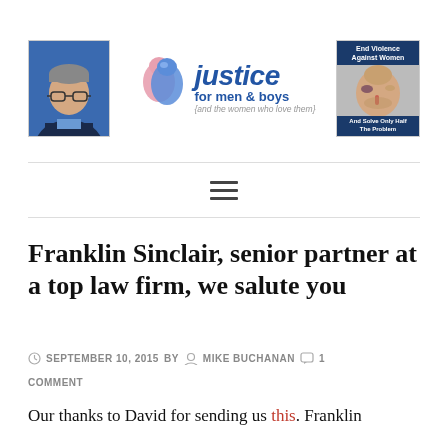[Figure (photo): Website header for 'Justice for Men & Boys (and the women who love them)' showing a man's photo on the left, the organization logo in the center with silhouette faces, and a banner image on the right showing a bruised man's face with text 'End Violence Against Women' and 'And Solve Only Half The Problem']
Franklin Sinclair, senior partner at a top law firm, we salute you
SEPTEMBER 10, 2015  BY  MIKE BUCHANAN  1 COMMENT
Our thanks to David for sending us this. Franklin